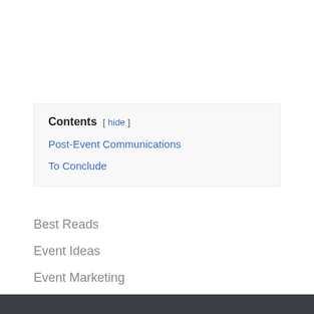| Contents |
| --- |
| Post-Event Communications |
| To Conclude |
Best Reads
Event Ideas
Event Marketing
Event Planning